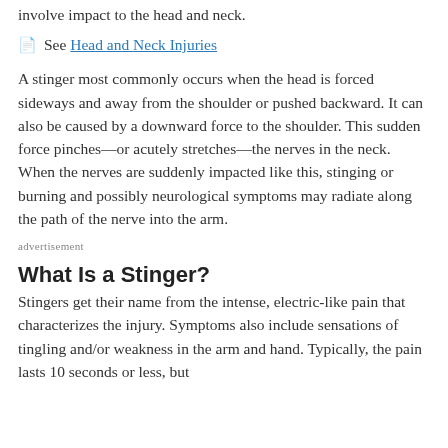involve impact to the head and neck.
See Head and Neck Injuries
A stinger most commonly occurs when the head is forced sideways and away from the shoulder or pushed backward. It can also be caused by a downward force to the shoulder. This sudden force pinches—or acutely stretches—the nerves in the neck. When the nerves are suddenly impacted like this, stinging or burning and possibly neurological symptoms may radiate along the path of the nerve into the arm.
advertisement
What Is a Stinger?
Stingers get their name from the intense, electric-like pain that characterizes the injury. Symptoms also include sensations of tingling and/or weakness in the arm and hand. Typically, the pain lasts 10 seconds or less, but